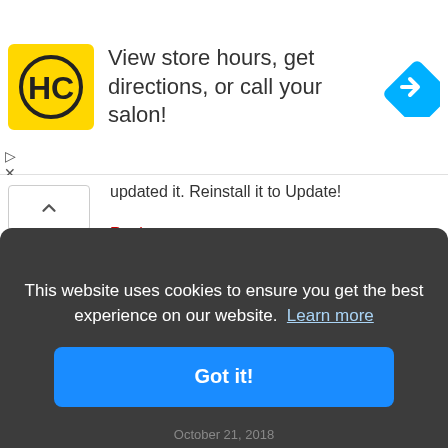[Figure (infographic): Ad banner: HC logo (yellow square with black H and C letters), text 'View store hours, get directions, or call your salon!', blue diamond navigation icon on the right]
updated it. Reinstall it to Update!
Reply
Giuseppe Lambritto
September 21, 2018
Hi, TweakBox work with iOS 12?
Reply
This website uses cookies to ensure you get the best experience on our website.  Learn more
Got it!
October 21, 2018